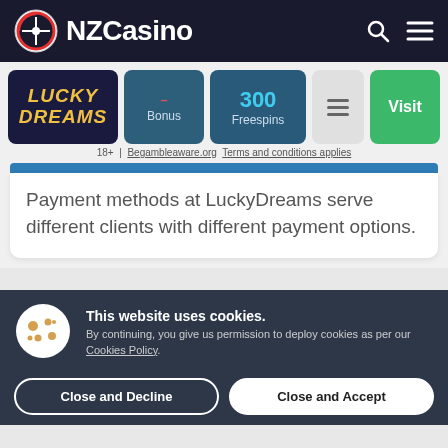[Figure (logo): NZCasino website header with logo, site name, search and menu icons on dark background]
[Figure (infographic): Lucky Dreams casino card row showing Lucky Dreams logo, Bonus, 300 Freespins, menu icon, and Visit button]
18+ | Begambleaware.org Terms and conditions applies
Payment methods at LuckyDreams serve different clients with different payment options.
This website uses cookies. By continuing, you give us permission to deploy cookies as per our Cookies Policy.
Close and Decline
Close and Accept